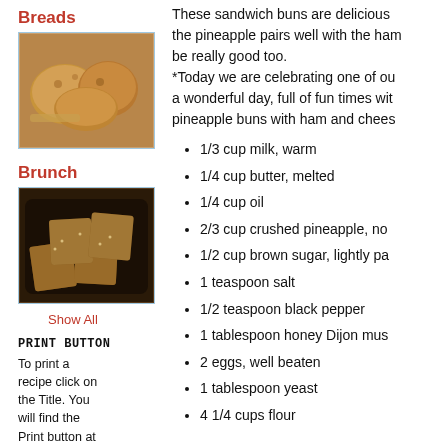Breads
[Figure (photo): Photo of bread loaves or rolls, brown baked bread pieces]
Brunch
[Figure (photo): Photo of brunch pastry rolls in a dark pan, sugared]
Show All
PRINT BUTTON
To print a recipe click on the Title. You will find the Print button at the bottom of
These sandwich buns are delicious the pineapple pairs well with the ham be really good too.
*Today we are celebrating one of ou a wonderful day, full of fun times wit pineapple buns with ham and chees
1/3 cup milk, warm
1/4 cup butter, melted
1/4 cup oil
2/3 cup crushed pineapple, no
1/2 cup brown sugar, lightly pa
1 teaspoon salt
1/2 teaspoon black pepper
1 tablespoon honey Dijon mus
2 eggs, well beaten
1 tablespoon yeast
4 1/4 cups flour